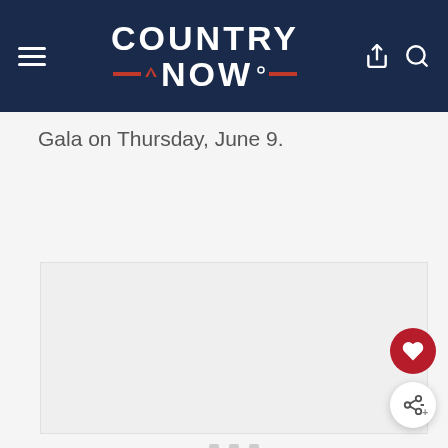COUNTRY NOW
Gala on Thursday, June 9.
[Figure (screenshot): Empty media placeholder with three dots indicating a loading carousel or image slideshow]
[Figure (other): Floating action button with heart icon (favorite/like)]
[Figure (other): Floating action button with share icon]